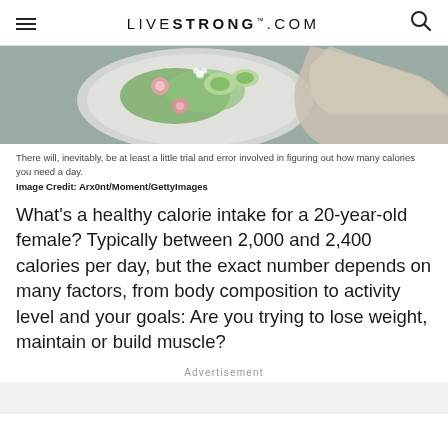LIVESTRONG.COM
[Figure (photo): Overhead view of a plate with salad including sliced radishes, cucumber, greens and edible flowers on a grey background with a linen napkin.]
There will, inevitably, be at least a little trial and error involved in figuring out how many calories you need a day.
Image Credit: Arx0nt/Moment/GettyImages
What's a healthy calorie intake for a 20-year-old female? Typically between 2,000 and 2,400 calories per day, but the exact number depends on many factors, from body composition to activity level and your goals: Are you trying to lose weight, maintain or build muscle?
Advertisement